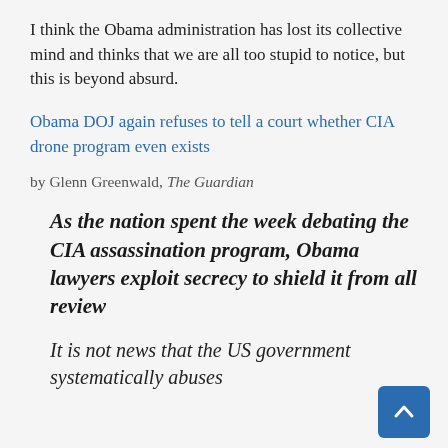I think the Obama administration has lost its collective mind and thinks that we are all too stupid to notice, but this is beyond absurd.
Obama DOJ again refuses to tell a court whether CIA drone program even exists
by Glenn Greenwald, The Guardian
As the nation spent the week debating the CIA assassination program, Obama lawyers exploit secrecy to shield it from all review
It is not news that the US government systematically abuses